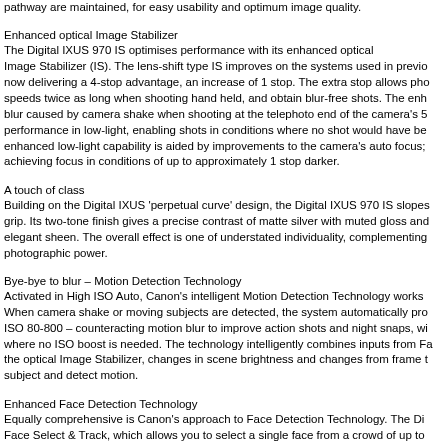pathway are maintained, for easy usability and optimum image quality.
Enhanced optical Image Stabilizer
The Digital IXUS 970 IS optimises performance with its enhanced optical Image Stabilizer (IS). The lens-shift type IS improves on the systems used in previous now delivering a 4-stop advantage, an increase of 1 stop. The extra stop allows pho speeds twice as long when shooting hand held, and obtain blur-free shots. The enh blur caused by camera shake when shooting at the telephoto end of the camera's 5 performance in low-light, enabling shots in conditions where no shot would have be enhanced low-light capability is aided by improvements to the camera's auto focus; achieving focus in conditions of up to approximately 1 stop darker.
A touch of class
Building on the Digital IXUS 'perpetual curve' design, the Digital IXUS 970 IS slopes grip. Its two-tone finish gives a precise contrast of matte silver with muted gloss and elegant sheen. The overall effect is one of understated individuality, complementing photographic power.
Bye-bye to blur – Motion Detection Technology
Activated in High ISO Auto, Canon's intelligent Motion Detection Technology works When camera shake or moving subjects are detected, the system automatically pro ISO 80-800 – counteracting motion blur to improve action shots and night snaps, wi where no ISO boost is needed. The technology intelligently combines inputs from Fa the optical Image Stabilizer, changes in scene brightness and changes from frame t subject and detect motion.
Enhanced Face Detection Technology
Equally comprehensive is Canon's approach to Face Detection Technology. The Di Face Select & Track, which allows you to select a single face from a crowd of up to